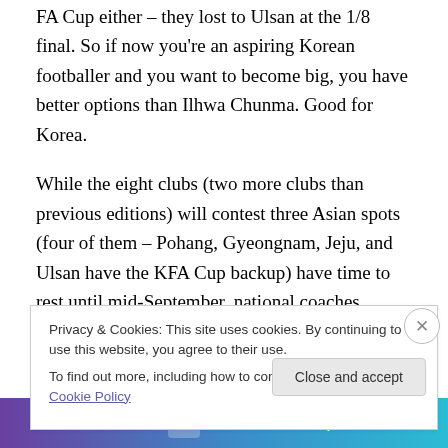FA Cup either – they lost to Ulsan at the 1/8 final. So if now you're an aspiring Korean footballer and you want to become big, you have better options than Ilhwa Chunma. Good for Korea.
While the eight clubs (two more clubs than previous editions) will contest three Asian spots (four of them – Pohang, Gyeongnam, Jeju, and Ulsan have the KFA Cup backup) have time to rest until mid-September, national coaches around Asia are already preparing for the Brazil 14 Qualifiers, also held in mid-September. Next Thursday Japan will face UAE and Australia take an away trip to
Privacy & Cookies: This site uses cookies. By continuing to use this website, you agree to their use.
To find out more, including how to control cookies, see here: Cookie Policy
Close and accept
[Figure (other): Advertisement banner with purple-to-blue gradient background and white text about starting a business in 8 steps]